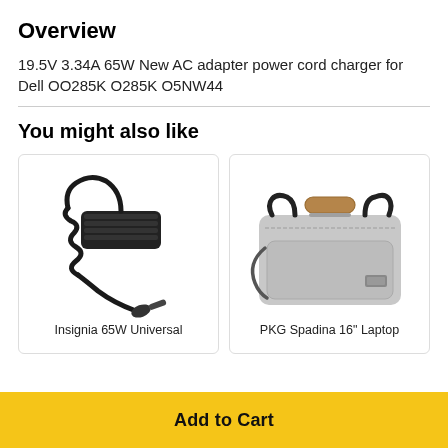Overview
19.5V 3.34A 65W New AC adapter power cord charger for Dell OO285K O285K O5NW44
You might also like
[Figure (photo): Insignia 65W Universal laptop charger/adapter with coiled cable and right-angle connector plug]
Insignia 65W Universal
[Figure (photo): PKG Spadina 16" Laptop bag in light gray with black handles, shoulder strap, and tan/brown accent on top handle]
PKG Spadina 16" Laptop
Add to Cart